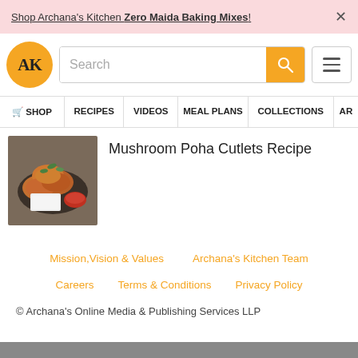Shop Archana's Kitchen Zero Maida Baking Mixes!
[Figure (logo): Archana's Kitchen logo - golden circle with AK text]
Search
SHOP  RECIPES  VIDEOS  MEAL PLANS  COLLECTIONS  AR
Mushroom Poha Cutlets Recipe
[Figure (photo): Photo of Mushroom Poha Cutlets stacked on a dark plate with garnish]
Mission,Vision & Values    Archana's Kitchen Team
Careers    Terms & Conditions    Privacy Policy
© Archana's Online Media & Publishing Services LLP